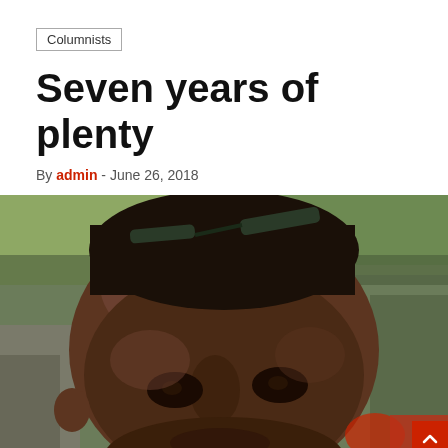Columnists
Seven years of plenty
By admin - June 26, 2018
[Figure (photo): Close-up portrait photo of a dark-skinned man with sunglasses on top of his head, outdoors with green foliage in the background]